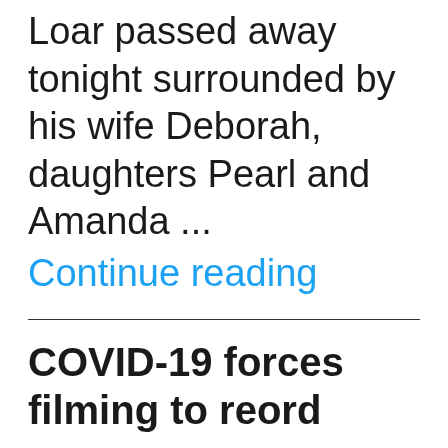Loar passed away tonight surrounded by his wife Deborah, daughters Pearl and Amanda ...
Continue reading
COVID-19 forces filming to reord